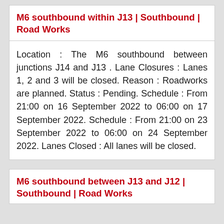M6 southbound within J13 | Southbound | Road Works
Location : The M6 southbound between junctions J14 and J13 . Lane Closures : Lanes 1, 2 and 3 will be closed. Reason : Roadworks are planned. Status : Pending. Schedule : From 21:00 on 16 September 2022 to 06:00 on 17 September 2022. Schedule : From 21:00 on 23 September 2022 to 06:00 on 24 September 2022. Lanes Closed : All lanes will be closed.
M6 southbound between J13 and J12 | Southbound | Road Works